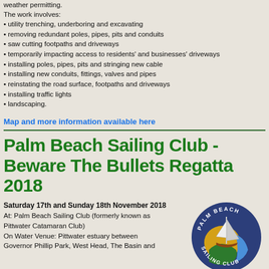weather permitting.
The work involves:
utility trenching, underboring and excavating
removing redundant poles, pipes, pits and conduits
saw cutting footpaths and driveways
temporarily impacting access to residents' and businesses' driveways
installing poles, pipes, pits and stringing new cable
installing new conduits, fittings, valves and pipes
reinstating the road surface, footpaths and driveways
installing traffic lights
landscaping.
Map and more information available here
Palm Beach Sailing Club - Beware The Bullets Regatta 2018
Saturday 17th and Sunday 18th November 2018
At: Palm Beach Sailing Club (formerly known as Pittwater Catamaran Club)
On Water Venue: Pittwater estuary between Governor Phillip Park, West Head, The Basin and
[Figure (logo): Palm Beach Sailing Club circular logo with sailboat and coastline design in blue, yellow and green]